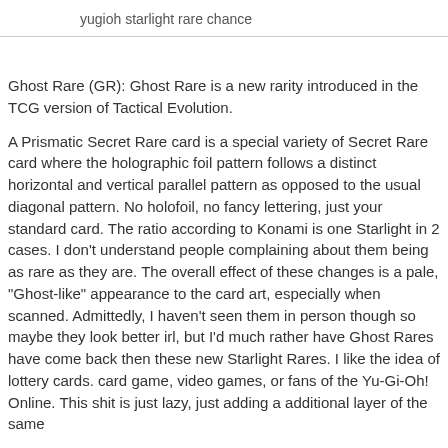yugioh starlight rare chance
Ghost Rare (GR): Ghost Rare is a new rarity introduced in the TCG version of Tactical Evolution.
A Prismatic Secret Rare card is a special variety of Secret Rare card where the holographic foil pattern follows a distinct horizontal and vertical parallel pattern as opposed to the usual diagonal pattern. No holofoil, no fancy lettering, just your standard card. The ratio according to Konami is one Starlight in 2 cases. I don't understand people complaining about them being as rare as they are. The overall effect of these changes is a pale, "Ghost-like" appearance to the card art, especially when scanned. Admittedly, I haven't seen them in person though so maybe they look better irl, but I'd much rather have Ghost Rares have come back then these new Starlight Rares. I like the idea of lottery cards. card game, video games, or fans of the Yu-Gi-Oh! Online. This shit is just lazy, just adding a additional layer of the same